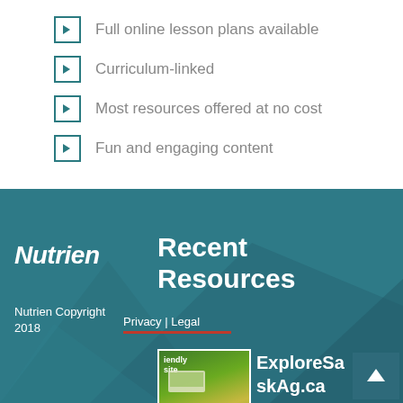Full online lesson plans available
Curriculum-linked
Most resources offered at no cost
Fun and engaging content
[Figure (screenshot): Nutrien branded footer section with dark teal background, Nutrien logo, Recent Resources heading, copyright text, Privacy and Legal links, a thumbnail image of a website showing farm/agriculture content with text 'iendly site', and ExploreSaskAg.ca text link.]
Nutrien Copyright 2018  Privacy | Legal
ExploreSaskAg.ca